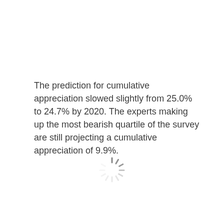The prediction for cumulative appreciation slowed slightly from 25.0% to 24.7% by 2020. The experts making up the most bearish quartile of the survey are still projecting a cumulative appreciation of 9.9%.
[Figure (other): A loading spinner icon (animated circular spinner) centered on the lower portion of the page.]